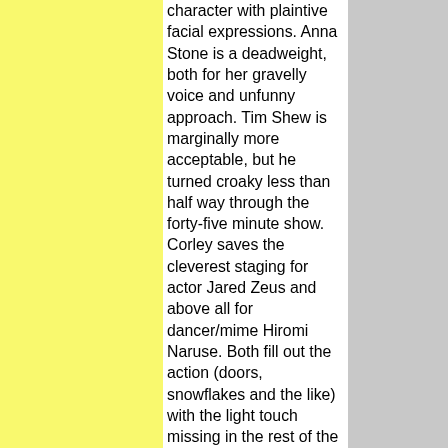character with plaintive facial expressions. Anna Stone is a deadweight, both for her gravelly voice and unfunny approach. Tim Shew is marginally more acceptable, but he turned croaky less than half way through the forty-five minute show. Corley saves the cleverest staging for actor Jared Zeus and above all for dancer/mime Hiromi Naruse. Both fill out the action (doors, snowflakes and the like) with the light touch missing in the rest of the show. At 14th Street Y. 45 minutes. [Lipfert]